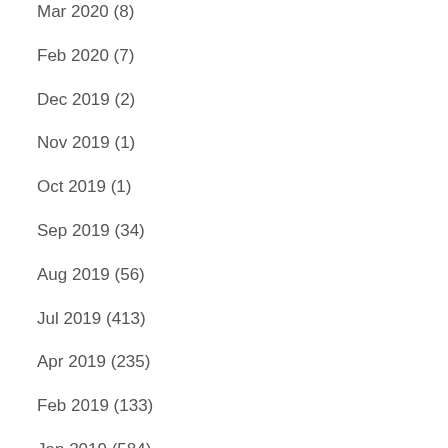Mar 2020 (8)
Feb 2020 (7)
Dec 2019 (2)
Nov 2019 (1)
Oct 2019 (1)
Sep 2019 (34)
Aug 2019 (56)
Jul 2019 (413)
Apr 2019 (235)
Feb 2019 (133)
Jan 2019 (584)